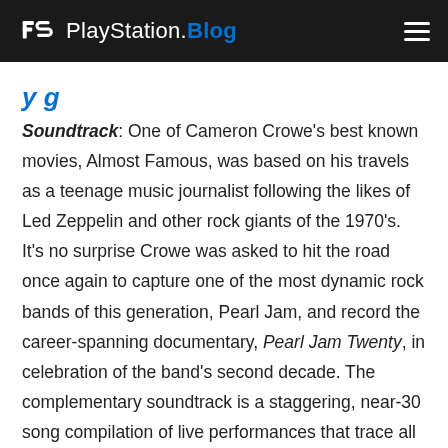PlayStation.Blog
Soundtrack: One of Cameron Crowe's best known movies, Almost Famous, was based on his travels as a teenage music journalist following the likes of Led Zeppelin and other rock giants of the 1970's. It's no surprise Crowe was asked to hit the road once again to capture one of the most dynamic rock bands of this generation, Pearl Jam, and record the career-spanning documentary, Pearl Jam Twenty, in celebration of the band's second decade. The complementary soundtrack is a staggering, near-30 song compilation of live performances that trace all the way back to the band's early demos and first shows. An absolute must-listen for PJ fans, and a great way to discover what makes a band